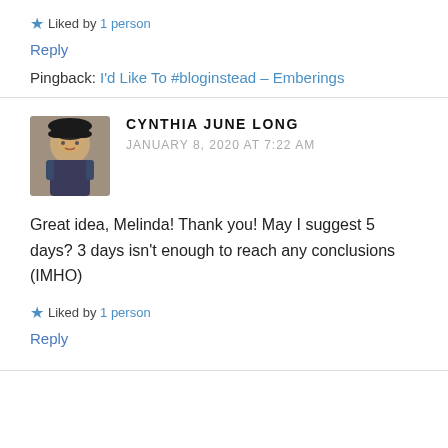★ Liked by 1 person
Reply
Pingback: I'd Like To #bloginstead – Emberings
CYNTHIA JUNE LONG
JANUARY 8, 2020 AT 7:22 AM
Great idea, Melinda! Thank you! May I suggest 5 days? 3 days isn't enough to reach any conclusions (IMHO)
★ Liked by 1 person
Reply